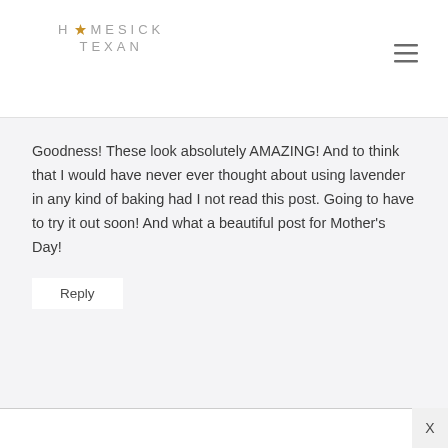HOMESICK TEXAN
Goodness! These look absolutely AMAZING! And to think that I would have never ever thought about using lavender in any kind of baking had I not read this post. Going to have to try it out soon! And what a beautiful post for Mother's Day!
Reply